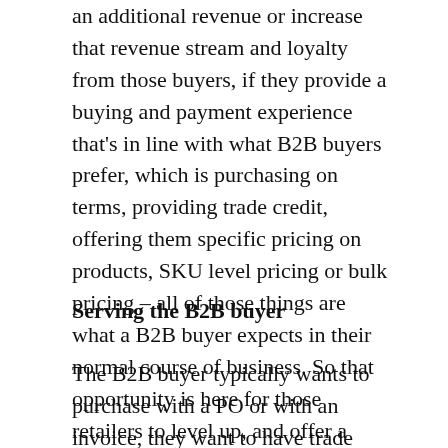an additional revenue or increase that revenue stream and loyalty from those buyers, if they provide a buying and payment experience that's in line with what B2B buyers prefer, which is purchasing on terms, providing trade credit, offering them specific pricing on products, SKU level pricing or bulk pricing – all of those things are what a B2B buyer expects in their normal course of business. So that opportunity is here for those retailers to level up, and offer a B2B buying experience, and not just take them along the B2C route.
Serving the B2B buyer
The B2B buyer typically wants to purchase with a PO or with an invoice, they want to have trade credit extended to them so they have 30 days to pay, have specific requirements for how that invoice is going to be submitted to their AP